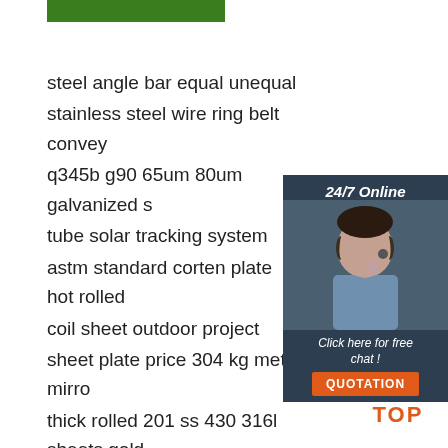[Figure (other): Green decorative bar at top]
steel angle bar equal unequal
stainless steel wire ring belt convey
q345b g90 65um 80um galvanized s
tube solar tracking system
astm standard corten plate hot rolled
coil sheet outdoor project
sheet plate price 304 kg metal mirro
thick rolled 201 ss 430 316l sheets gold
finish 2b stainless steel coil
zincalume aluzinc steel coil galvalume
materials 750 1250mm galvalume steel coil
[Figure (photo): 24/7 Online chat widget with photo of woman wearing headset, dark teal background, 'Click here for free chat!' text, and orange QUOTATION button]
[Figure (logo): Orange TOP badge with dot triangle icon above text]